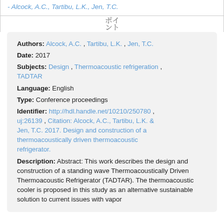- Alcock, A.C., Tartibu, L.K., Jen, T.C.
[bracket/expand icon]
Authors: Alcock, A.C. , Tartibu, L.K. , Jen, T.C.
Date: 2017
Subjects: Design , Thermoacoustic refrigeration , TADTAR
Language: English
Type: Conference proceedings
Identifier: http://hdl.handle.net/10210/250780 , uj:26139 , Citation: Alcock, A.C., Tartibu, L.K. & Jen, T.C. 2017. Design and construction of a thermoacoustically driven thermoacoustic refrigerator.
Description: Abstract: This work describes the design and construction of a standing wave Thermoacoustically Driven Thermoacoustic Refrigerator (TADTAR). The thermoacoustic cooler is proposed in this study as an alternative sustainable solution to current issues with vapor